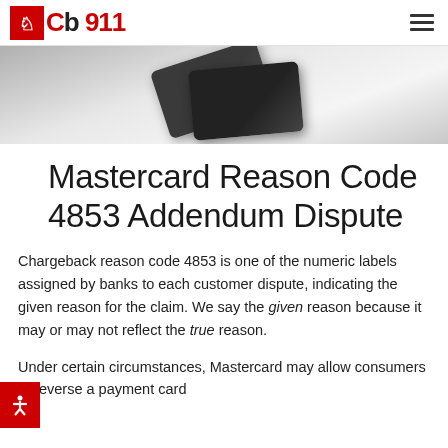Cb 911
[Figure (photo): Partial view of dark credit cards on a light background, shot from above at an angle]
Mastercard Reason Code 4853 Addendum Dispute
Chargeback reason code 4853 is one of the numeric labels assigned by banks to each customer dispute, indicating the given reason for the claim. We say the given reason because it may or may not reflect the true reason.
Under certain circumstances, Mastercard may allow consumers to reverse a payment card